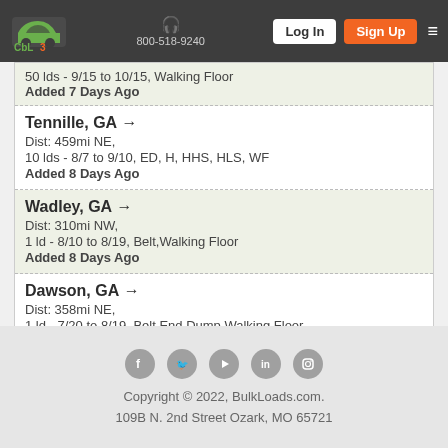BulkLoads.com — 800-518-9240 — Log In | Sign Up
50 lds - 9/15 to 10/15, Walking Floor
Added 7 Days Ago
Tennille, GA →
Dist: 459mi NE,
10 lds - 8/7 to 9/10, ED, H, HHS, HLS, WF
Added 8 Days Ago
Wadley, GA →
Dist: 310mi NW,
1 ld - 8/10 to 8/19, Belt,Walking Floor
Added 8 Days Ago
Dawson, GA →
Dist: 358mi NE,
1 ld - 7/20 to 8/19, Belt,End Dump,Walking Floor
Added 30 Days Ago
Copyright © 2022, BulkLoads.com.
109B N. 2nd Street Ozark, MO 65721